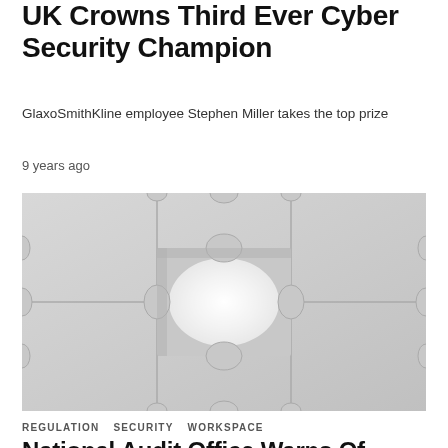UK Crowns Third Ever Cyber Security Champion
GlaxoSmithKline employee Stephen Miller takes the top prize
9 years ago
[Figure (photo): Close-up photograph of grey puzzle pieces with one piece missing in the center, creating a white cross-shaped gap. The puzzle pieces are laid flat on a surface.]
REGULATION  SECURITY  WORKSPACE
National Audit Office Warns Of